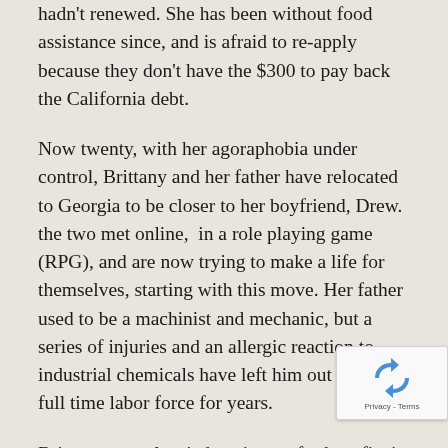hadn't renewed. She has been without food assistance since, and is afraid to re-apply because they don't have the $300 to pay back the California debt.
Now twenty, with her agoraphobia under control, Brittany and her father have relocated to Georgia to be closer to her boyfriend, Drew. the two met online,  in a role playing game (RPG), and are now trying to make a life for themselves, starting with this move. Her father used to be a machinist and mechanic, but a series of injuries and an allergic reaction to industrial chemicals have left him out of the full time labor force for years.
Brittany recently tried to sign up for benefits in Georgia, through the state and then through United Way, which has a contract to process welfare applications using contracted 'case managers'. The biggest shock came when the case manager told her the best thing she could do is become homeless, get rid of everything, live on...